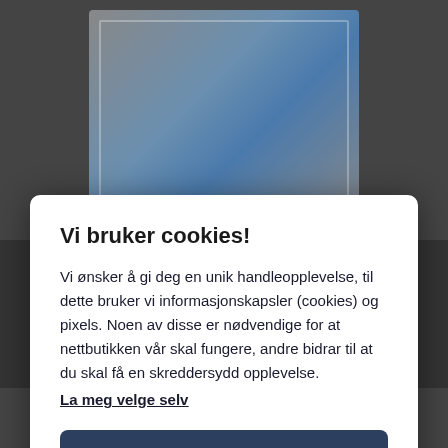[Figure (photo): Background image showing hands holding a blueprint/engineering drawing, partially visible behind a cookie consent modal dialog]
Vi bruker cookies!
Vi ønsker å gi deg en unik handleopplevelse, til dette bruker vi informasjonskapsler (cookies) og pixels. Noen av disse er nødvendige for at nettbutikken vår skal fungere, andre bidrar til at du skal få en skreddersydd opplevelse.
La meg velge selv
Godta alle
Godta kun nødvendige